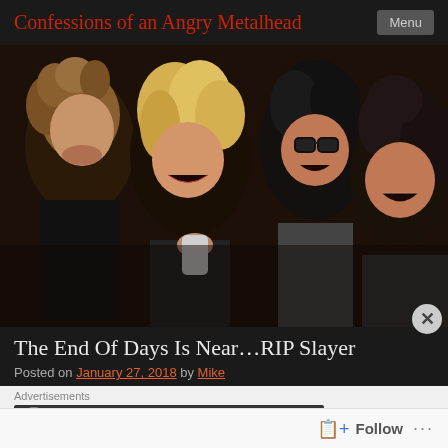Confessions of an Angry Metalhead
[Figure (photo): Four members of the band Slayer posing together making aggressive and excited faces; one is holding a crushed beer can.]
The End Of Days Is Near…RIP Slayer
Posted on January 27, 2018 by Mike
Advertisements
[Figure (screenshot): Advertisement banner with a circular icon and text 'Launch your online']
Follow